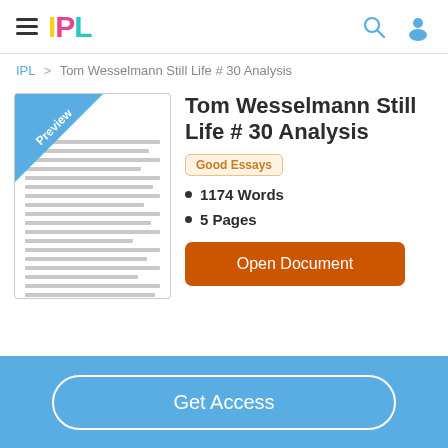IPL
IPL > Tom Wesselmann Still Life # 30 Analysis
[Figure (screenshot): Preview thumbnail of a document with horizontal lines and a blue 'Preview' ribbon in the top-left corner]
Tom Wesselmann Still Life # 30 Analysis
Good Essays
1174 Words
5 Pages
Open Document
Get Access